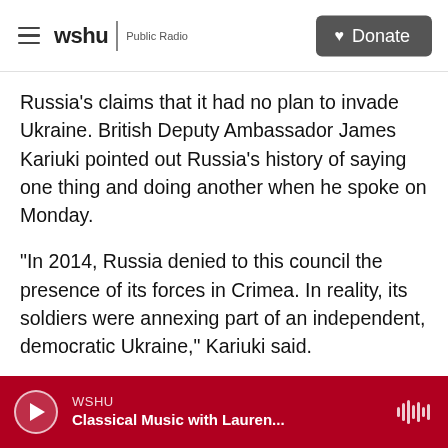wshu | Public Radio  [Donate]
Russia's claims that it had no plan to invade Ukraine. British Deputy Ambassador James Kariuki pointed out Russia's history of saying one thing and doing another when he spoke on Monday.
"In 2014, Russia denied to this council the presence of its forces in Crimea. In reality, its soldiers were annexing part of an independent, democratic Ukraine," Kariuki said.
Nebenzia maintained the position that Russia does not have plans to invade, but he warned Ukraine against any provocations – then leaving the room
WSHU  Classical Music with Lauren...